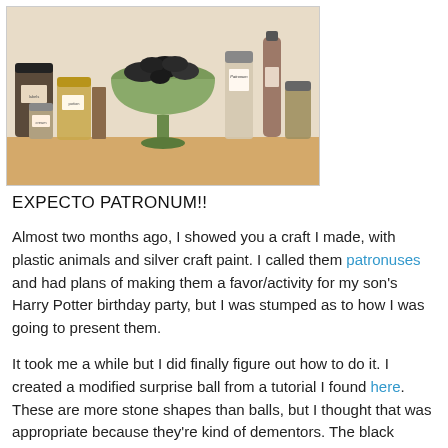[Figure (photo): Photo of a collection of labeled potion jars and bottles on a shelf, with a green stemmed bowl in the center filled with black rocks/stones. One jar is labeled 'Patronum'. Various sizes of glass jars with handwritten labels arranged around the central bowl.]
EXPECTO PATRONUM!!
Almost two months ago, I showed you a craft I made, with plastic animals and silver craft paint. I called them patronuses and had plans of making them a favor/activity for my son's Harry Potter birthday party, but I was stumped as to how I was going to present them.
It took me a while but I did finally figure out how to do it. I created a modified surprise ball from a tutorial I found here. These are more stone shapes than balls, but I thought that was appropriate because they're kind of dementors. The black shapes of darkness, fear and sadness.